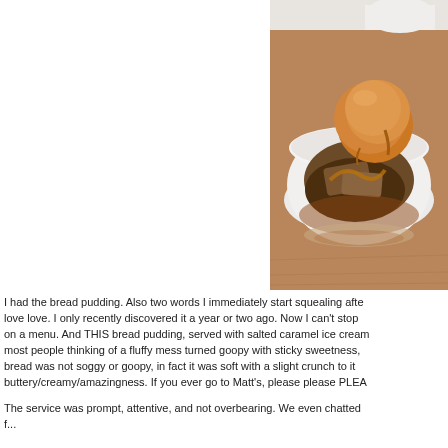[Figure (photo): A white ceramic bowl containing bread pudding with dark caramel sauce and a scoop of salted caramel ice cream on top, placed on a wooden surface. A white cup is partially visible in the upper background.]
I had the bread pudding. Also two words I immediately start squealing after love love. I only recently discovered it a year or two ago. Now I can't stop on a menu. And THIS bread pudding, served with salted caramel ice cream most people thinking of a fluffy mess turned goopy with sticky sweetness bread was not soggy or goopy, in fact it was soft with a slight crunch to it buttery/creamy/amazingness. If you ever go to Matt's, please please PLEA
The service was prompt, attentive, and not overbearing. We even chatted f...